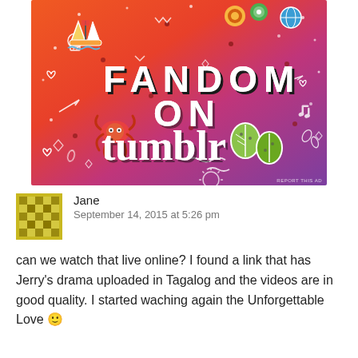[Figure (illustration): Colorful Tumblr 'Fandom on Tumblr' promotional banner with orange-to-purple gradient background, white doodle icons (skull, hearts, arrows, music notes, sailboat, spider/octopus stickers, leaf stickers), and bold text 'FANDOM ON tumblr']
Jane
September 14, 2015 at 5:26 pm
can we watch that live online? I found a link that has Jerry's drama uploaded in Tagalog and the videos are in good quality. I started waching again the Unforgettable Love 🙂